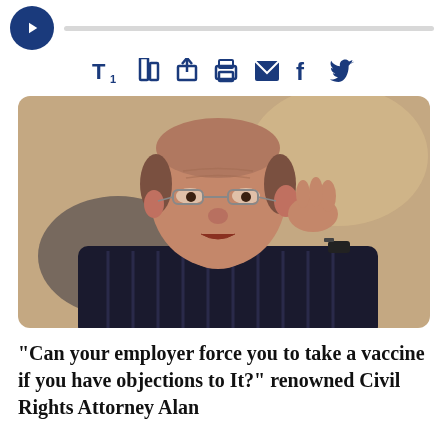[Figure (other): Toolbar with play button and audio progress bar at the top of a news article page]
[Figure (other): Row of toolbar icons: text size controls (T↑, column, share), print, email, Facebook, Twitter — all in dark navy blue]
[Figure (photo): Photo of an older man with glasses, wearing a dark striped shirt, holding his hand to his ear, with a blurred background. Appears to be Alan Dershowitz.]
"Can your employer force you to take a vaccine if you have objections to It?" renowned Civil Rights Attorney Alan